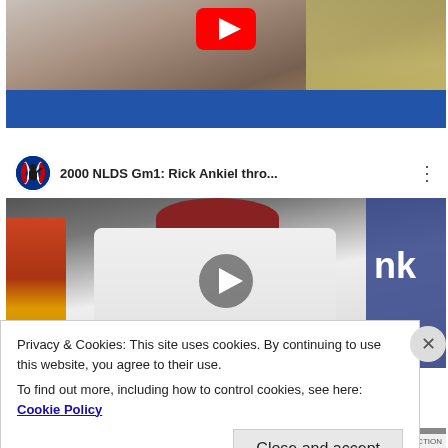[Figure (screenshot): Top portion of a YouTube video embed showing a man in a blue shirt with a YouTube play button overlay visible at the top center.]
[Figure (screenshot): YouTube video embed showing '2000 NLDS Gm1: Rick Ankiel thro...' with MLB logo in header, and a baseball pitcher in white uniform with red cap, with a large play button in the center.]
Privacy & Cookies: This site uses cookies. By continuing to use this website, you agree to their use.
To find out more, including how to control cookies, see here: Cookie Policy
Close and accept